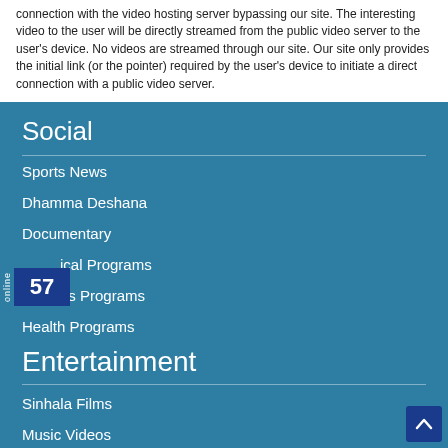connection with the video hosting server bypassing our site. The interesting video to the user will be directly streamed from the public video server to the user's device. No videos are streamed through our site. Our site only provides the initial link (or the pointer) required by the user's device to initiate a direct connection with a public video server.
Social
Sports News
Dhamma Deshana
Documentary
ical Programs
es Programs
Health Programs
Entertainment
Sinhala Films
Music Videos